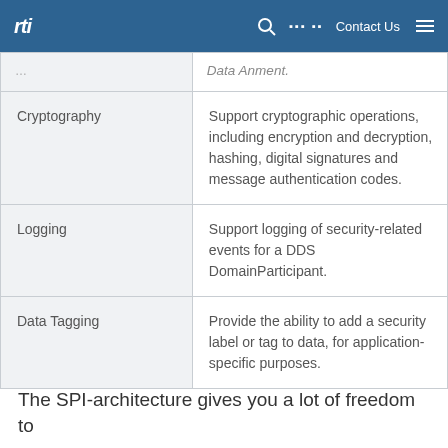rti | Contact Us
| Cryptography | Support cryptographic operations, including encryption and decryption, hashing, digital signatures and message authentication codes. |
| Logging | Support logging of security-related events for a DDS DomainParticipant. |
| Data Tagging | Provide the ability to add a security label or tag to data, for application-specific purposes. |
The SPI-architecture gives you a lot of freedom to